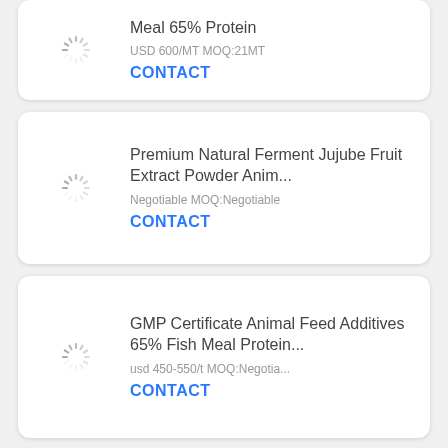[Figure (other): Loading spinner icon (image placeholder)]
Meal 65% Protein
USD 600/MT MOQ:21MT
CONTACT
[Figure (other): Loading spinner icon (image placeholder)]
Premium Natural Ferment Jujube Fruit Extract Powder Anim...
Negotiable MOQ:Negotiable
CONTACT
[Figure (other): Loading spinner icon (image placeholder)]
GMP Certificate Animal Feed Additives 65% Fish Meal Protein...
usd 450-550/t MOQ:Negotia...
CONTACT